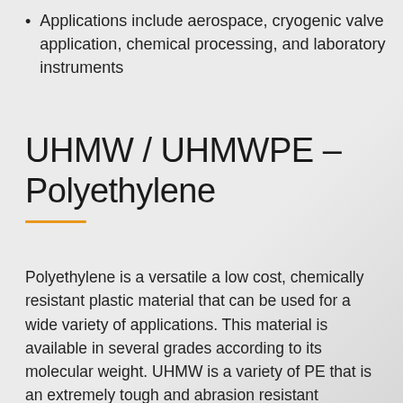Applications include aerospace, cryogenic valve application, chemical processing, and laboratory instruments
UHMW / UHMWPE – Polyethylene
Polyethylene is a versatile a low cost, chemically resistant plastic material that can be used for a wide variety of applications. This material is available in several grades according to its molecular weight. UHMW is a variety of PE that is an extremely tough and abrasion resistant thermoplastic used for applications that require durability and/or abrasive wear resistance.